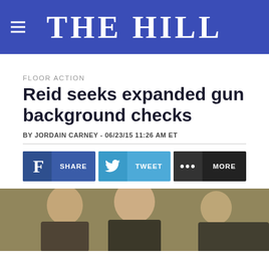THE HILL
FLOOR ACTION
Reid seeks expanded gun background checks
BY JORDAIN CARNEY - 06/23/15 11:26 AM ET
[Figure (screenshot): Social share buttons: Facebook SHARE, Twitter TWEET, and MORE buttons]
[Figure (photo): Photo of politicians including Harry Reid and Chuck Schumer]